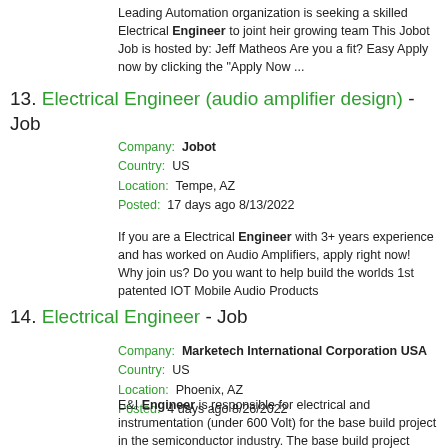Leading Automation organization is seeking a skilled Electrical Engineer to joint heir growing team This Jobot Job is hosted by: Jeff Matheos Are you a fit? Easy Apply now by clicking the "Apply Now ...
13. Electrical Engineer (audio amplifier design) - Job
Company: Jobot
Country: US
Location: Tempe, AZ
Posted: 17 days ago 8/13/2022
If you are a Electrical Engineer with 3+ years experience and has worked on Audio Amplifiers, apply right now! Why join us? Do you want to help build the worlds 1st patented IOT Mobile Audio Products
14. Electrical Engineer - Job
Company: Marketech International Corporation USA
Country: US
Location: Phoenix, AZ
Posted: 4 days ago 8/26/2022
E&I Engineer is responsible for electrical and instrumentation (under 600 Volt) for the base build project in the semiconductor industry. The base build project involves water and chemical systems ...